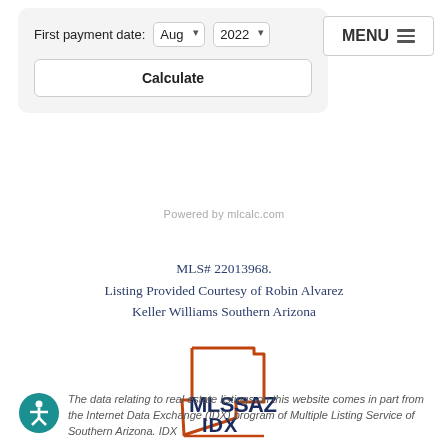First payment date: Aug 2022 [dropdowns] Calculate [button]
Powered by mlcalc.com
MLS# 22013968.
Listing Provided Courtesy of Robin Alvarez
Keller Williams Southern Arizona
[Figure (logo): MLSSAZ IDX logo — outline of Arizona state in red-orange with MLSSAZ IDX text in navy blue]
The data relating to real estate listings on this website comes in part from the Internet Data Exchange (IDX) program of Multiple Listing Service of Southern Arizona. IDX